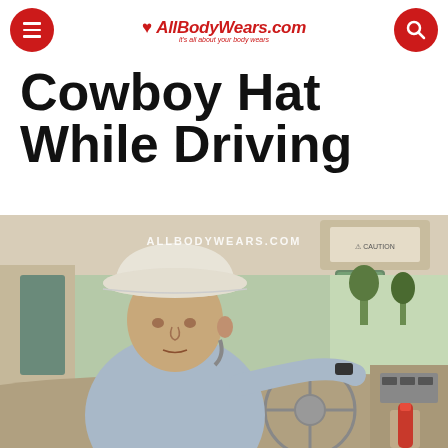AllBodyWears.com – it's all about your body wears
Cowboy Hat While Driving
[Figure (photo): A man wearing a white cowboy hat sitting in the driver's seat of a truck, hand on steering wheel, with 'ALLBODYWEARS.COM' watermark overlay]